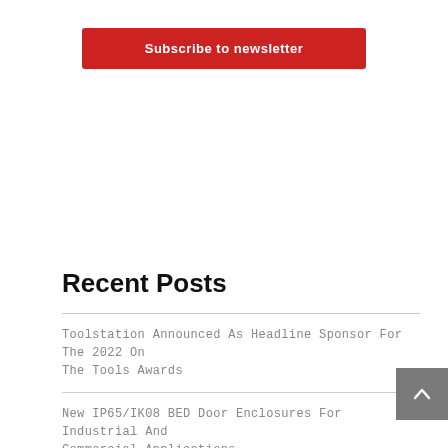Subscribe to newsletter
Recent Posts
Toolstation Announced As Headline Sponsor For The 2022 On The Tools Awards
New IP65/IK08 BED Door Enclosures For Industrial And Commercial Applications
Transport For London Banks On Ellis Patents